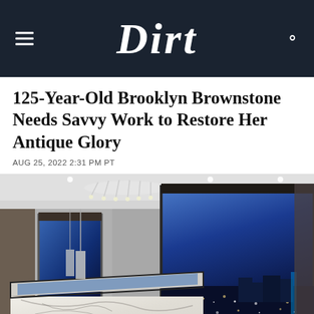Dirt
125-Year-Old Brooklyn Brownstone Needs Savvy Work to Restore Her Antique Glory
AUG 25, 2022 2:31 PM PT
[Figure (photo): Interior photo of a modern luxury room with a large marble island/bathtub surround, floor-to-ceiling windows showing a city skyline at night with blue ambient lighting, crystal chandelier on ceiling, and contemporary white cabinetry.]